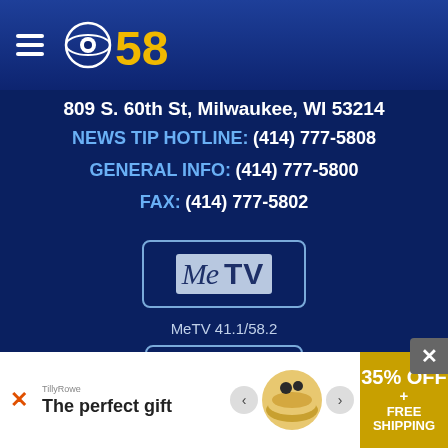[Figure (logo): CBS 58 logo with hamburger menu icon on dark blue header bar]
809 S. 60th St, Milwaukee, WI 53214
NEWS TIP HOTLINE: (414) 777-5808
GENERAL INFO: (414) 777-5800
FAX: (414) 777-5802
[Figure (logo): MeTV logo in a rounded rectangle border]
MeTV 41.1/58.2
[Figure (logo): The M (means milwaukee) logo in a rounded rectangle border]
[Figure (other): Advertisement banner: The perfect gift, 35% OFF + FREE SHIPPING]